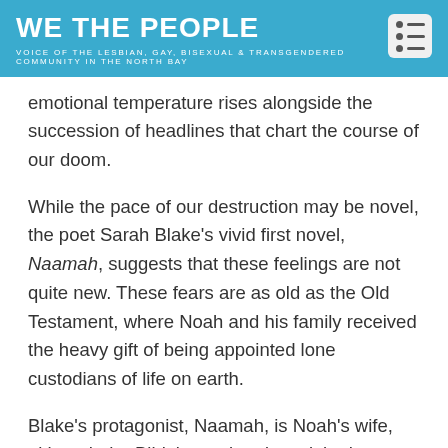WE THE PEOPLE
VOICE OF THE LESBIAN, GAY, BISEXUAL & TRANSGENDERED COMMUNITY IN THE NORTH BAY
emotional temperature rises alongside the succession of headlines that chart the course of our doom.
While the pace of our destruction may be novel, the poet Sarah Blake's vivid first novel, Naamah, suggests that these feelings are not quite new. These fears are as old as the Old Testament, where Noah and his family received the heavy gift of being appointed lone custodians of life on earth.
Blake's protagonist, Naamah, is Noah's wife, although the Bible's version doesn't bother to name the women on the Ark. Nor, for that matter, does the scripture analyze psychology; the author of this tale is more engrossed in topics like boat-building and animal husbandry. Blake